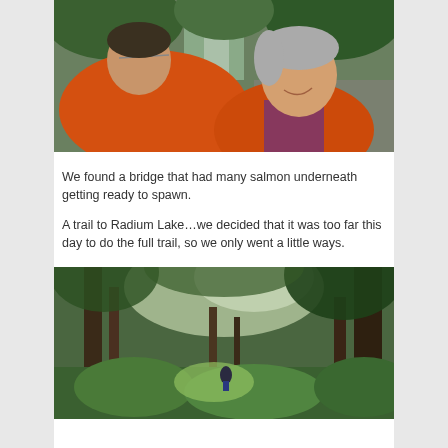[Figure (photo): Two people in orange jackets smiling at each other with a waterfall and green trees in the background, selfie style photo]
We found a bridge that had many salmon underneath getting ready to spawn.
A trail to Radium Lake…we decided that it was too far this day to do the full trail, so we only went a little ways.
[Figure (photo): Forest trail photo showing tall conifer trees with green undergrowth, bright light filtering through the canopy, and a small person visible in the distance]